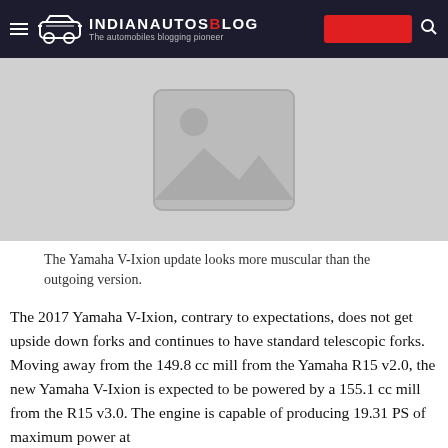IndianAutosBlog — The automobiles blogging pioneer
[Figure (photo): Placeholder image with mountain/landscape image icon on grey background]
The Yamaha V-Ixion update looks more muscular than the outgoing version.
The 2017 Yamaha V-Ixion, contrary to expectations, does not get upside down forks and continues to have standard telescopic forks. Moving away from the 149.8 cc mill from the Yamaha R15 v2.0, the new Yamaha V-Ixion is expected to be powered by a 155.1 cc mill from the R15 v3.0. The engine is capable of producing 19.31 PS of maximum power at